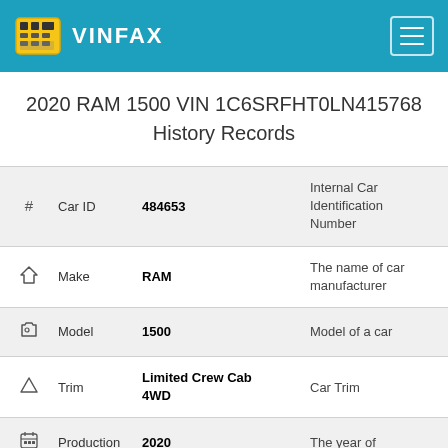VINFAX
2020 RAM 1500 VIN 1C6SRFHT0LN415768 History Records
| # | Field | Value | Description |
| --- | --- | --- | --- |
| # | Car ID | 484653 | Internal Car Identification Number |
| home | Make | RAM | The name of car manufacturer |
| tag | Model | 1500 | Model of a car |
| triangle | Trim | Limited Crew Cab 4WD | Car Trim |
| calendar | Production | 2020 | The year of |